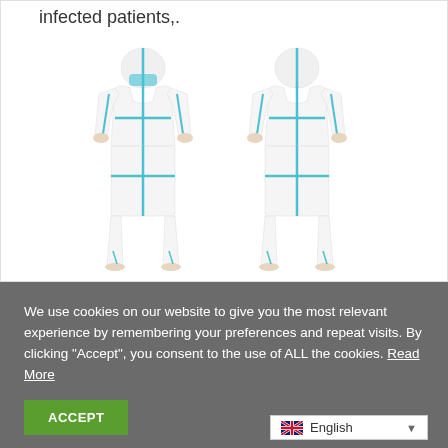infected patients,.
[Figure (photo): Two views of a person wearing a white full-body protective coverall suit with blue seam tape — front view on the left showing a person with face mask and hood, and rear view on the right showing the back of the suit with blue taped seams forming a cross pattern.]
We use cookies on our website to give you the most relevant experience by remembering your preferences and repeat visits. By clicking “Accept”, you consent to the use of ALL the cookies. Read More
ACCEPT
English